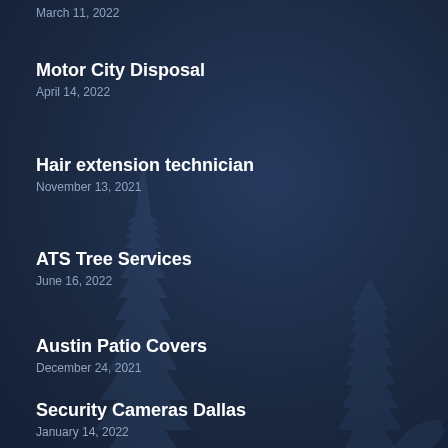March 11, 2022
Motor City Disposal
April 14, 2022
Hair extension technician
November 13, 2021
ATS Tree Services
June 16, 2022
Austin Patio Covers
December 24, 2021
Security Cameras Dallas
January 14, 2022